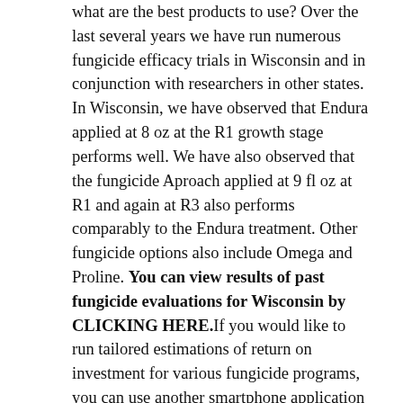what are the best products to use? Over the last several years we have run numerous fungicide efficacy trials in Wisconsin and in conjunction with researchers in other states. In Wisconsin, we have observed that Endura applied at 8 oz at the R1 growth stage performs well. We have also observed that the fungicide Aproach applied at 9 fl oz at R1 and again at R3 also performs comparably to the Endura treatment. Other fungicide options also include Omega and Proline. You can view results of past fungicide evaluations for Wisconsin by CLICKING HERE.If you would like to run tailored estimations of return on investment for various fungicide programs, you can use another smartphone application called Sporebuster.
What is Sporebuster?
When a fungicide application is needed to control white mold in soybeans, Sporebuster can help determine a profitable program. You enter your expected soybean price, expected yield, and treatment cost. Sporebuster instantly compares ten different treatment plans at once to determine average net gain